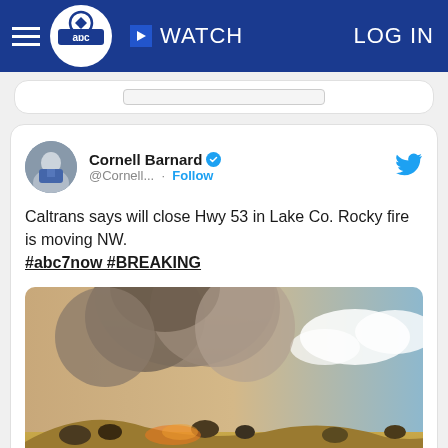abc7 WATCH LOG IN
[Figure (screenshot): Tweet card from Cornell Barnard (@Cornell...) with verified badge and Follow button. Tweet text: 'Caltrans says will close Hwy 53 in Lake Co. Rocky fire is moving NW. #abc7now #BREAKING'. Includes a wildfire photo showing smoke and dry landscape. Timestamp: 12:43 AM · Aug 3, 2015 fro...]